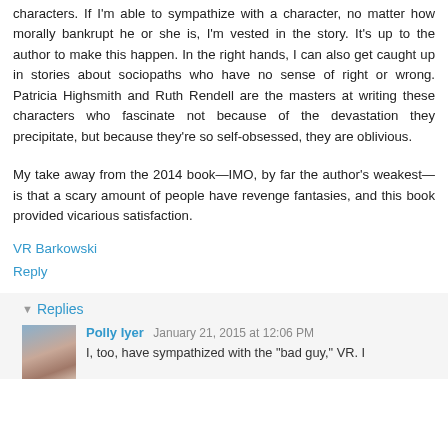characters. If I'm able to sympathize with a character, no matter how morally bankrupt he or she is, I'm vested in the story. It's up to the author to make this happen. In the right hands, I can also get caught up in stories about sociopaths who have no sense of right or wrong. Patricia Highsmith and Ruth Rendell are the masters at writing these characters who fascinate not because of the devastation they precipitate, but because they're so self-obsessed, they are oblivious.
My take away from the 2014 book—IMO, by far the author's weakest—is that a scary amount of people have revenge fantasies, and this book provided vicarious satisfaction.
VR Barkowski
Reply
Replies
Polly Iyer  January 21, 2015 at 12:06 PM
I, too, have sympathized with the "bad guy," VR. I